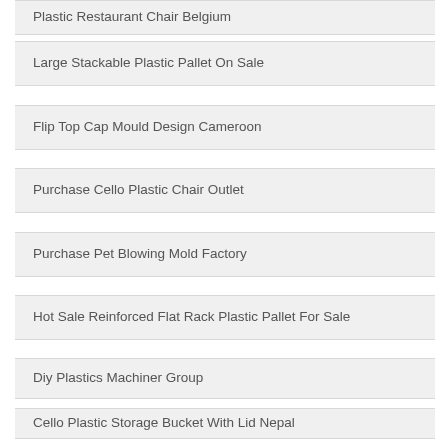Plastic Restaurant Chair Belgium
Large Stackable Plastic Pallet On Sale
Flip Top Cap Mould Design Cameroon
Purchase Cello Plastic Chair Outlet
Purchase Pet Blowing Mold Factory
Hot Sale Reinforced Flat Rack Plastic Pallet For Sale
Diy Plastics Machiner Group
Cello Plastic Storage Bucket With Lid Nepal
Square Plastic Picnic Table Mould In Portugal
Hot Sell Automotive Plastic Injection Molding